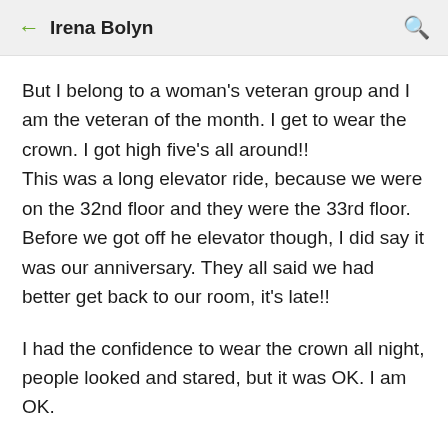Irena Bolyn
But I belong to a woman's veteran group and I am the veteran of the month. I get to wear the crown. I got high five's all around!! This was a long elevator ride, because we were on the 32nd floor and they were the 33rd floor. Before we got off he elevator though, I did say it was our anniversary. They all said we had better get back to our room, it's late!!
I had the confidence to wear the crown all night, people looked and stared, but it was OK. I am OK.